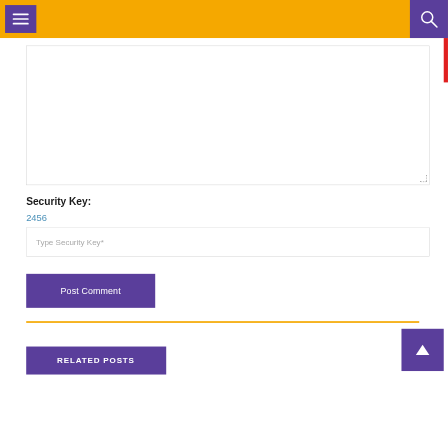[Figure (screenshot): Yellow navigation header bar with purple hamburger menu button on left and purple search button on right]
Security Key:
2456
Type Security Key*
Post Comment
RELATED POSTS